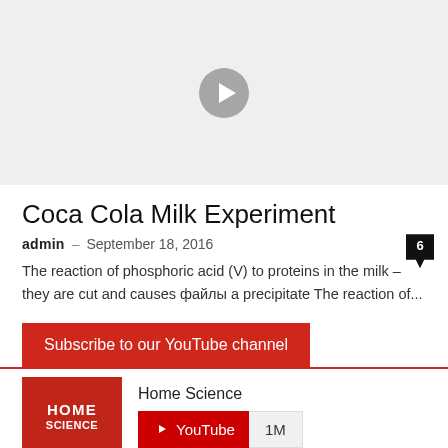[Figure (other): Video thumbnail placeholder with grey background and play button icon]
Coca Cola Milk Experiment
admin  –  September 18, 2016   6
The reaction of phosphoric acid (V) to proteins in the milk – they are cut and causes файлы a precipitate The reaction of...
Subscribe to our YouTube channel
[Figure (logo): Home Science YouTube channel widget with logo and 1M subscriber count]